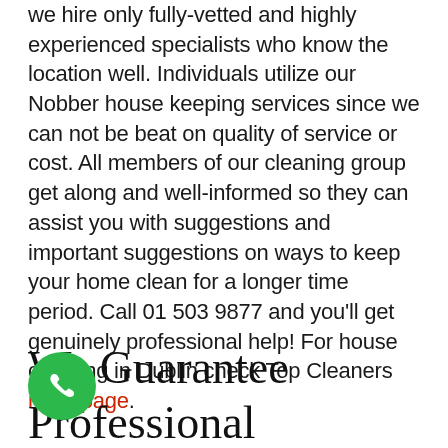we hire only fully-vetted and highly experienced specialists who know the location well. Individuals utilize our Nobber house keeping services since we can not be beat on quality of service or cost. All members of our cleaning group get along and well-informed so they can assist you with suggestions and important suggestions on ways to keep your home clean for a longer time period. Call 01 503 9877 and you'll get genuinely professional help! For house cleaning in Dublin check Top Cleaners main page.
We Guarantee Professional House Keeping in Nobber